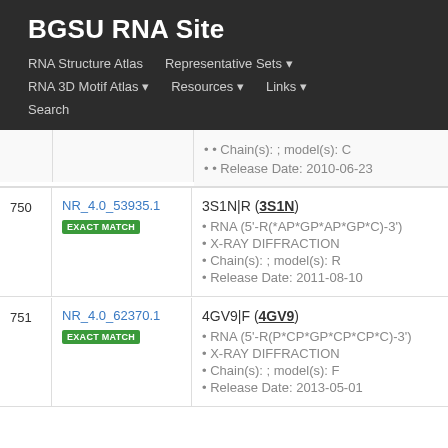BGSU RNA Site
RNA Structure Atlas | Representative Sets | RNA 3D Motif Atlas | Resources | Links | Search
Chain(s): ; model(s): C
Release Date: 2010-06-23
| # | ID | Details |
| --- | --- | --- |
| 750 | NR_4.0_53935.1 EXACT MATCH | 3S1N|R (3S1N)
• RNA (5'-R(*AP*GP*AP*GP*C)-3')
• X-RAY DIFFRACTION
• Chain(s): ; model(s): R
• Release Date: 2011-08-10 |
| 751 | NR_4.0_62370.1 EXACT MATCH | 4GV9|F (4GV9)
• RNA (5'-R(P*CP*GP*CP*CP*C)-3')
• X-RAY DIFFRACTION
• Chain(s): ; model(s): F
• Release Date: 2013-05-01 |